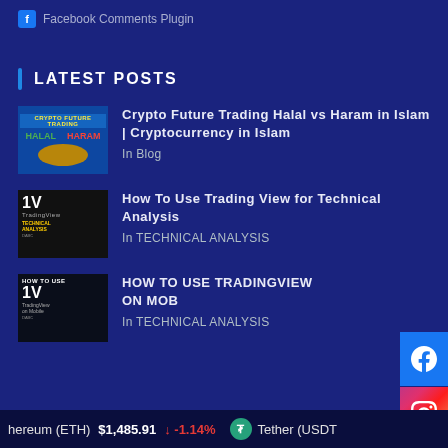Facebook Comments Plugin
LATEST POSTS
[Figure (photo): Thumbnail for Crypto Future Trading Halal vs Haram video]
Crypto Future Trading Halal vs Haram in Islam | Cryptocurrency in Islam
In Blog
[Figure (photo): Thumbnail for How To Use Trading View for Technical Analysis video]
How To Use Trading View for Technical Analysis
In TECHNICAL ANALYSIS
[Figure (photo): Thumbnail for HOW TO USE TRADINGVIEW ON MOBILE video]
HOW TO USE TRADINGVIEW ON MOB
In TECHNICAL ANALYSIS
hereum (ETH)   $1,485.91   ↓ -1.14%   Tether (USDT